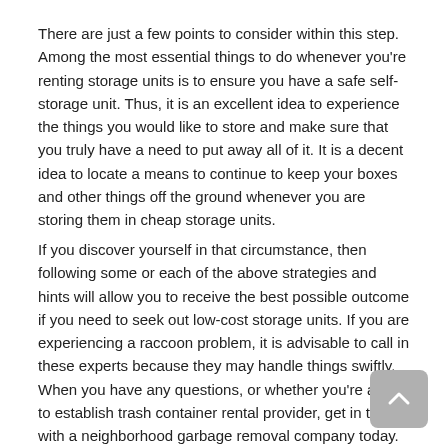There are just a few points to consider within this step. Among the most essential things to do whenever you're renting storage units is to ensure you have a safe self-storage unit. Thus, it is an excellent idea to experience the things you would like to store and make sure that you truly have a need to put away all of it. It is a decent idea to locate a means to continue to keep your boxes and other things off the ground whenever you are storing them in cheap storage units.
If you discover yourself in that circumstance, then following some or each of the above strategies and hints will allow you to receive the best possible outcome if you need to seek out low-cost storage units. If you are experiencing a raccoon problem, it is advisable to call in these experts because they may handle things swiftly. When you have any questions, or whether you're all set to establish trash container rental provider, get in touch with a neighborhood garbage removal company today.